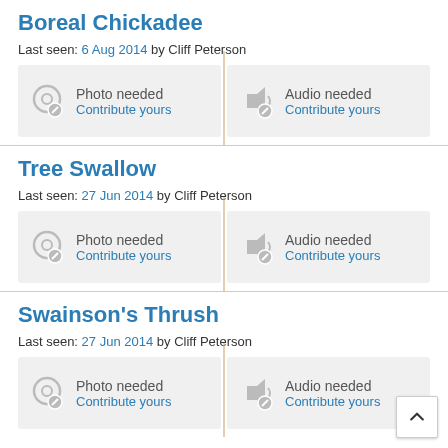Boreal Chickadee
Last seen: 6 Aug 2014 by Cliff Peterson
Photo needed Contribute yours
Audio needed Contribute yours
Tree Swallow
Last seen: 27 Jun 2014 by Cliff Peterson
Photo needed Contribute yours
Audio needed Contribute yours
Swainson's Thrush
Last seen: 27 Jun 2014 by Cliff Peterson
Photo needed Contribute yours
Audio needed Contribute yours